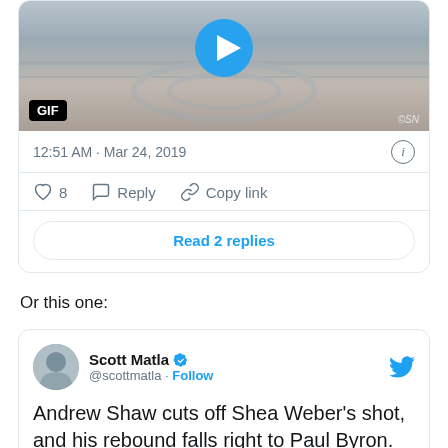[Figure (screenshot): GIF of hockey game embedded in tweet, showing players on ice rink with a play button and GIF badge]
12:51 AM · Mar 24, 2019
8   Reply   Copy link
Read 2 replies
Or this one:
[Figure (screenshot): Tweet by Scott Matla (@scottmatla) with verified badge and Follow link. Text: Andrew Shaw cuts off Shea Weber's shot, and his rebound falls right to Paul Byron.]